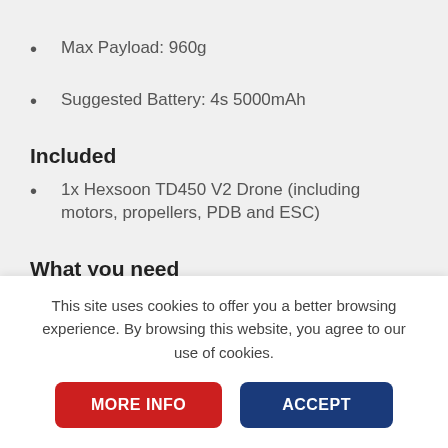Max Payload: 960g
Suggested Battery: 4s 5000mAh
Included
1x Hexsoon TD450 V2 Drone (including motors, propellers, PDB and ESC)
What you need
You still need a few electronics like the autopilot and battery to fly this drone, we suggest the following:
This site uses cookies to offer you a better browsing experience. By browsing this website, you agree to our use of cookies.